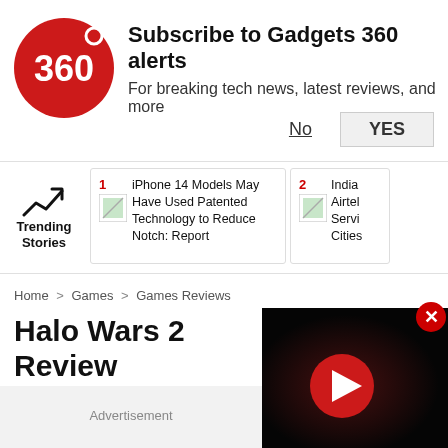[Figure (logo): Gadgets 360 red circle logo]
Subscribe to Gadgets 360 alerts
For breaking tech news, latest reviews, and more
No
YES
Trending Stories
iPhone 14 Models May Have Used Patented Technology to Reduce Notch: Report
India Airtel Servi Cities
Home > Games > Games Reviews
Halo Wars 2 Review
Advertisement
[Figure (screenshot): Video player with red play button on dark background]